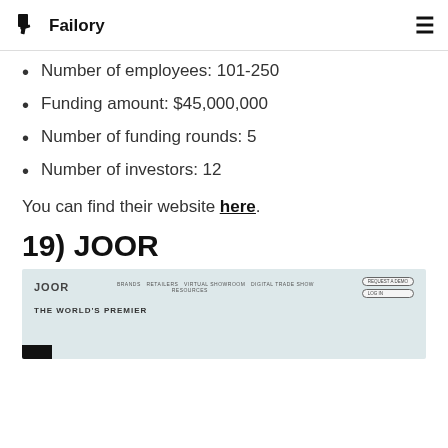Failory
Number of employees: 101-250
Funding amount: $45,000,000
Number of funding rounds: 5
Number of investors: 12
You can find their website here.
19) JOOR
[Figure (screenshot): Screenshot of JOOR website showing navigation with BRANDS, RETAILERS, VIRTUAL SHOWROOM, DIGITAL TRADE SHOW, RESOURCES links, REQUEST A DEMO and LOG IN buttons, and headline THE WORLD'S PREMIER]